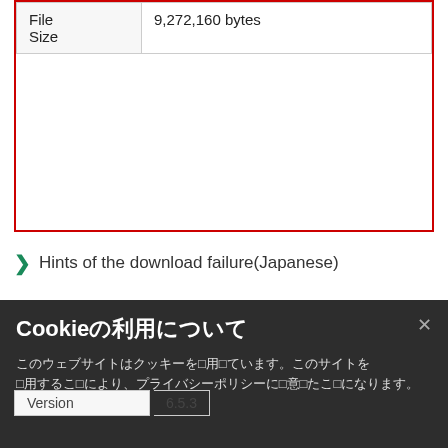|  |  |
| --- | --- |
| File Size | 9,272,160 bytes |
Hints of the download failure(Japanese)
Specification
| Software | ART EX Printer Driver English Version |
| --- | --- |
| Version | 6.5.3 |
| Date | Oct. 26, 2013 |
|  | imagePORT-IV 5080 |
Cookieの利用について
このウェブサイトはクッキーを使用しています。このサイトを使用することにより、プライバシーポリシーに同意したことになります。 プライバシーポリシー